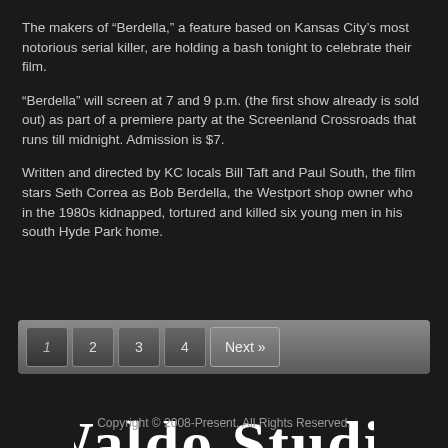The makers of “Berdella,” a feature based on Kansas City’s most notorious serial killer, are holding a bash tonight to celebrate their film.
“Berdella” will screen at 7 and 9 p.m. (the first show already is sold out) as part of a premiere party at the Screenland Crossroads that runs till midnight. Admission is $7.
Written and directed by KC locals Bill Taft and Paul South, the film stars Seth Correa as Bob Berdella, the Westport shop owner who in the 1980s kidnapped, tortured and killed six young men in his south Hyde Park home.
[Figure (other): Pagination bar with page buttons: 1 (active/current), 2, 3, 4, and Next »]
[Figure (logo): Waldo Studio logo in white cursive/script font on dark background]
Copyright © 2008-Present. All Rights Reserved.